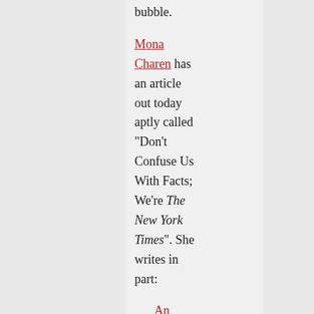bubble.
Mona Charen has an article out today aptly called "Don't Confuse Us With Facts; We're The New York Times". She writes in part:
An Aug. 31, 2011 story by Al Bake